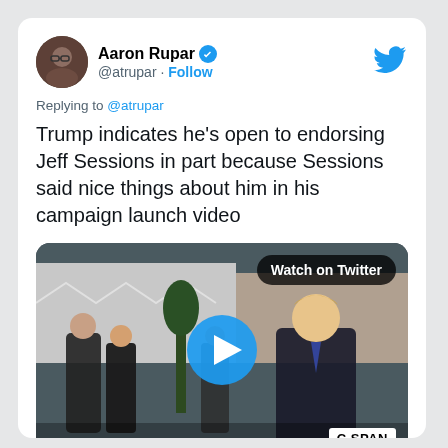Aaron Rupar @atrupar · Follow
Replying to @atrupar
Trump indicates he's open to endorsing Jeff Sessions in part because Sessions said nice things about him in his campaign launch video
[Figure (screenshot): Video thumbnail showing people in formal attire outdoors at what appears to be the White House, with a blue play button in the center, 'Watch on Twitter' button at top right, and C-SPAN logo at bottom right]